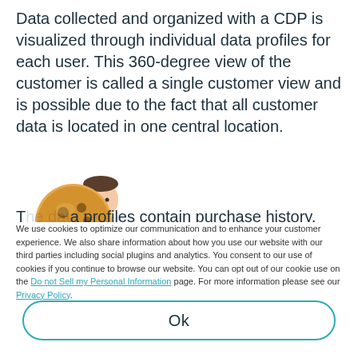Data collected and organized with a CDP is visualized through individual data profiles for each user. This 360-degree view of the customer is called a single customer view and is possible due to the fact that all customer data is located in one central location.
[Figure (illustration): Cartoon illustration of a man holding a large cookie]
The data profiles contain purchase history, site interaction, location and other...
We use cookies to optimize our communication and to enhance your customer experience. We also share information about how you use our website with our third parties including social plugins and analytics. You consent to our use of cookies if you continue to browse our website. You can opt out of our cookie use on the Do not Sell my Personal Information page. For more information please see our Privacy Policy.
Ok